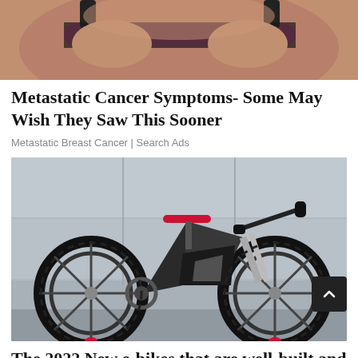[Figure (photo): Close-up photo of a person wearing a black and pink sports bra, hands on torso]
Metastatic Cancer Symptoms- Some May Wish They Saw This Sooner
Metastatic Breast Cancer | Search Ads
[Figure (photo): Photo of a futuristic black carbon-fiber electric mountain bike (e-bike) with red accents, leaning against a concrete wall]
The 2022 New e-bikes that are well-built and